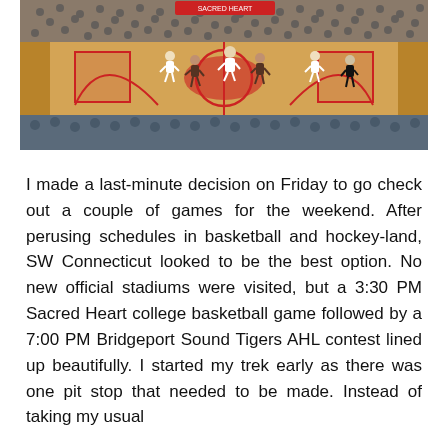[Figure (photo): Indoor basketball game at a college arena with red court markings, players on the court and a packed crowd in the stands]
I made a last-minute decision on Friday to go check out a couple of games for the weekend. After perusing schedules in basketball and hockey-land, SW Connecticut looked to be the best option. No new official stadiums were visited, but a 3:30 PM Sacred Heart college basketball game followed by a 7:00 PM Bridgeport Sound Tigers AHL contest lined up beautifully. I started my trek early as there was one pit stop that needed to be made. Instead of taking my usual